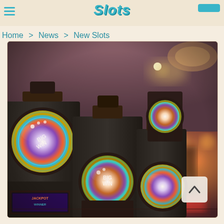Slots [logo]
Home > News > New Slots
[Figure (photo): Casino slot machines in a row with colorful circular displays showing 'Big Win' logos, photographed in a casino environment with warm bokeh lighting in the background. Multiple rows of slot machines visible, with black cabinets and bright neon signage.]